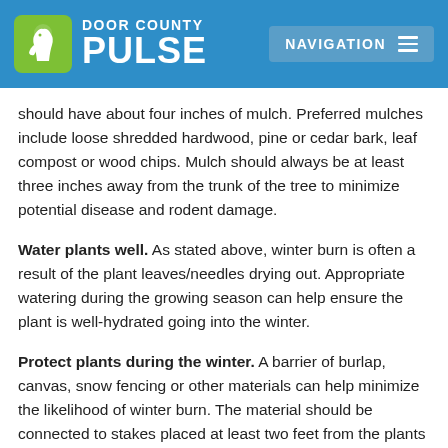Door County Pulse — Navigation
should have about four inches of mulch. Preferred mulches include loose shredded hardwood, pine or cedar bark, leaf compost or wood chips. Mulch should always be at least three inches away from the trunk of the tree to minimize potential disease and rodent damage.
Water plants well. As stated above, winter burn is often a result of the plant leaves/needles drying out. Appropriate watering during the growing season can help ensure the plant is well-hydrated going into the winter.
Protect plants during the winter. A barrier of burlap, canvas, snow fencing or other materials can help minimize the likelihood of winter burn. The material should be connected to stakes placed at least two feet from the plants to provide shade and a windbreak. Wrapping material directly around trees should be avoided because it can lead to plant diseases by holding in ice